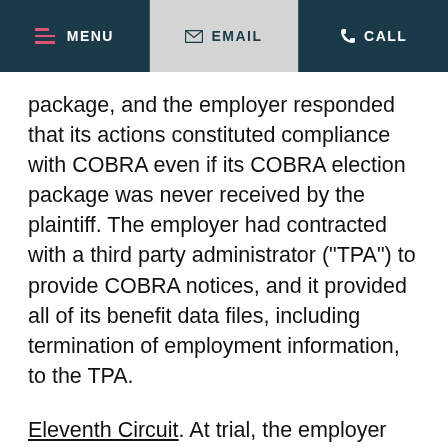MENU  EMAIL  CALL
package, and the employer responded that its actions constituted compliance with COBRA even if its COBRA election package was never received by the plaintiff. The employer had contracted with a third party administrator (“TPA”) to provide COBRA notices, and it provided all of its benefit data files, including termination of employment information, to the TPA.
Eleventh Circuit. At trial, the employer presented evidence to confirm that once the TPA received information from the employer, it was uploaded into its computer system and a COBRA election notice is